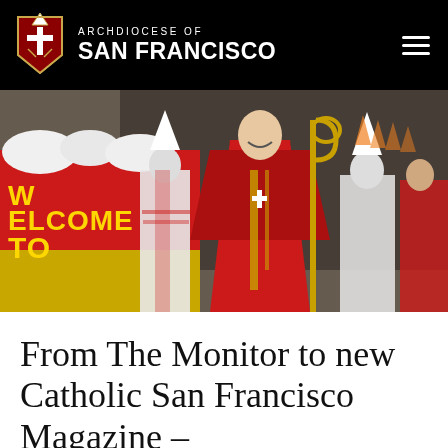ARCHDIOCESE OF SAN FRANCISCO
[Figure (photo): A smiling Catholic bishop or cardinal dressed in red ceremonial robes holds a golden staff (crozier), surrounded by other clergy in white robes and mitre hats. A banner in the foreground reads 'WELCOME TO' in yellow letters on red and yellow fabric.]
From The Monitor to new Catholic San Francisco Magazine –